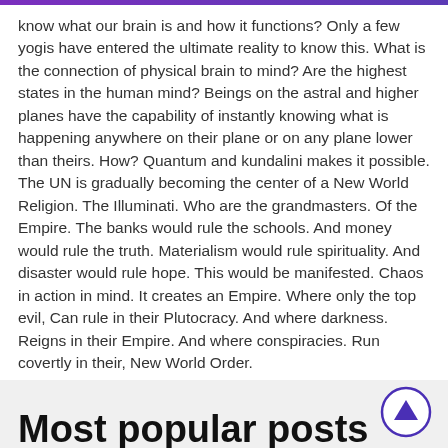know what our brain is and how it functions?  Only a few yogis have entered the ultimate reality to know this. What is the connection of physical brain to mind?  Are the highest states in the human mind? Beings on the astral and higher planes have the capability of instantly knowing what is happening anywhere on their plane or on any plane lower than theirs. How? Quantum and kundalini makes it possible.
The UN is gradually becoming the center of a New World Religion. The Illuminati. Who are the grandmasters. Of the Empire.  The banks would rule the schools. And money would rule the truth. Materialism would rule spirituality. And disaster would rule hope. This would be manifested. Chaos in action in mind. It creates an Empire. Where only the top evil, Can rule in their Plutocracy. And where darkness. Reigns in their Empire. And where conspiracies. Run covertly in their, New World Order.
Most popular posts